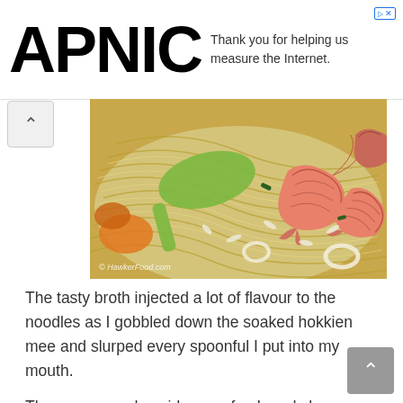[Figure (logo): APNIC logo in large bold black text]
Thank you for helping us measure the Internet.
[Figure (photo): Close-up photo of hokkien mee noodles with prawns/shrimp, squid, and green spoon. Watermark: © HawkerFood.com]
The tasty broth injected a lot of flavour to the noodles as I gobbled down the soaked hokkien mee and slurped every spoonful I put into my mouth.
The prawns and squids were fresh and chewy as